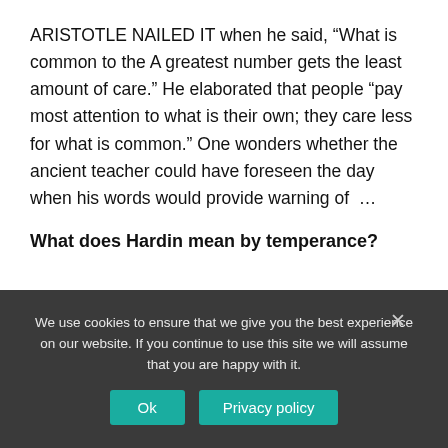ARISTOTLE NAILED IT when he said, “What is common to the A greatest number gets the least amount of care.” He elaborated that people “pay most attention to what is their own; they care less for what is common.” One wonders whether the ancient teacher could have foreseen the day when his words would provide warning of …
What does Hardin mean by temperance?
We use cookies to ensure that we give you the best experience on our website. If you continue to use this site we will assume that you are happy with it.